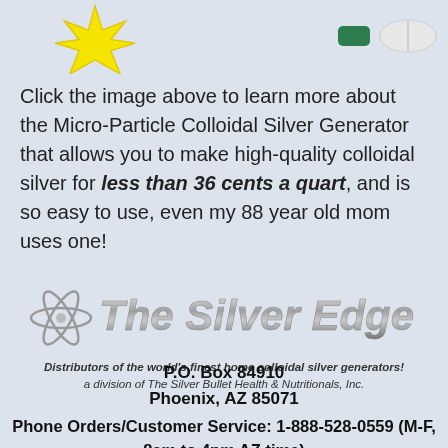[Figure (illustration): Yellow sunburst/star shape on the left and white/green pills on the right at the top of the page]
Click the image above to learn more about the Micro-Particle Colloidal Silver Generator that allows you to make high-quality colloidal silver for less than 36 cents a quart, and is so easy to use, even my 88 year old mom uses one!
[Figure (logo): The Silver Edge logo — metallic 3D text with an atom/silver icon, tagline: Distributors of the world's finest home colloidal silver generators! a division of The Silver Bullet Health & Nutritionals, Inc.]
P.O. Box 84910
Phoenix, AZ 85071
Phone Orders/Customer Service: 1-888-528-0559 (M-F, 8am to 4pm AZ time)